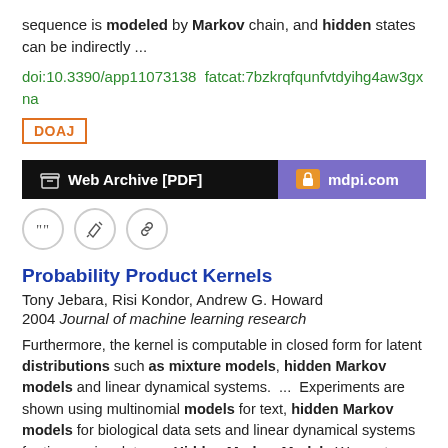sequence is modeled by Markov chain, and hidden states can be indirectly  ...
doi:10.3390/app11073138  fatcat:7bzkrqfqunfvtdyihg4aw3gxna
DOAJ
[Figure (other): Web Archive [PDF] and mdpi.com access buttons]
[Figure (other): Icon row with quote, edit, and link icons]
Probability Product Kernels
Tony Jebara, Risi Kondor, Andrew G. Howard
2004 Journal of machine learning research
Furthermore, the kernel is computable in closed form for latent distributions such as mixture models, hidden Markov models and linear dynamical systems.  ...  Experiments are shown using multinomial models for text, hidden Markov models for biological data sets and linear dynamical systems for time series data.  ...  Hidden Markov Models We next upgrade beyond mixtures to graphical models such as hidden Markov models (HMMs).  ...
dblp:journals/jmlr/JebaraKH04
fatcat:bfn27afizad3ikfy73z4dclam